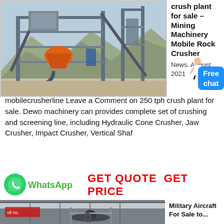[Figure (photo): Industrial crushing plant with steel framework, conveyor belts, hoppers, and orange crush bowl, set against mountain backdrop]
crush plant for sale – Mining Machinery Mobile Rock Crusher
News. August 2021
mobilecrusherline Leave a Comment on 250 tph crush plant for sale. Dewo machinery can provides complete set of crushing and screening line, including Hydraulic Cone Crusher, Jaw Crusher, Impact Crusher, Vertical Shaf
[Figure (logo): WhatsApp green circle icon with phone handset]
WhatsApp   GET QUOTE   GET PRICE
[Figure (photo): Military aircraft inside hangar with scaffolding, red banners visible]
Military Aircraft For Sale to...